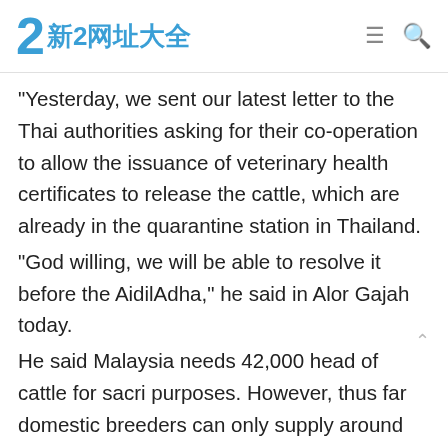2 新2网址大全
“Yesterday, we sent our latest letter to the Thai authorities asking for their co-operation to allow the issuance of veterinary health certificates to release the cattle, which are already in the quarantine station in Thailand.
“God willing, we will be able to resolve it before the AidilAdha,” he said in Alor Gajah today.
He said Malaysia needs 42,000 head of cattle for sacri purposes. However, thus far domestic breeders can only supply around 38,000 head.
“We are still hoping for the immediate entry of cattle from outside, especially from Thailand, as the size of cows imported from that country is more suitable for sacrificial worship, similar to local cattle,” he explained.
He said those who wanted to perform the sacrificial ritual did